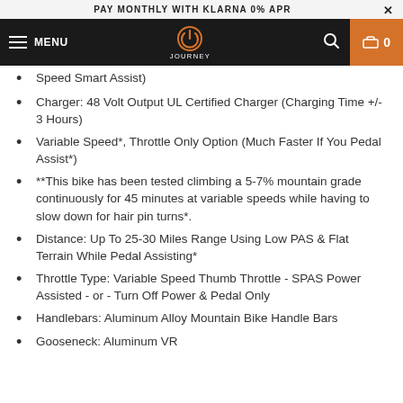PAY MONTHLY WITH KLARNA 0% APR
[Figure (screenshot): Navigation bar with hamburger menu, JOURNEY logo (power button icon), search icon, and cart button showing 0 items on dark background with orange cart button]
Speed Smart Assist)
Charger: 48 Volt Output UL Certified Charger (Charging Time +/- 3 Hours)
Variable Speed*, Throttle Only Option (Much Faster If You Pedal Assist*)
**This bike has been tested climbing a 5-7% mountain grade continuously for 45 minutes at variable speeds while having to slow down for hair pin turns*.
Distance: Up To 25-30 Miles Range Using Low PAS & Flat Terrain While Pedal Assisting*
Throttle Type: Variable Speed Thumb Throttle - SPAS Power Assisted - or - Turn Off Power & Pedal Only
Handlebars: Aluminum Alloy Mountain Bike Handle Bars
Gooseneck: Aluminum VR